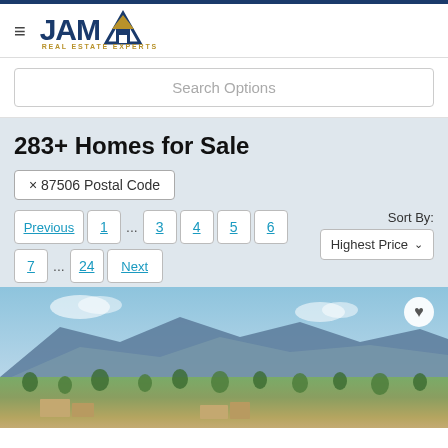JAM Real Estate Experts
Search Options
283+ Homes for Sale
× 87506 Postal Code
Previous 1 ... 3 4 5 6 7 ... 24 Next
Sort By: Highest Price
[Figure (photo): Aerial landscape photo showing New Mexico high desert terrain with mountains in background, sparse juniper trees, and adobe-style homes in foreground.]